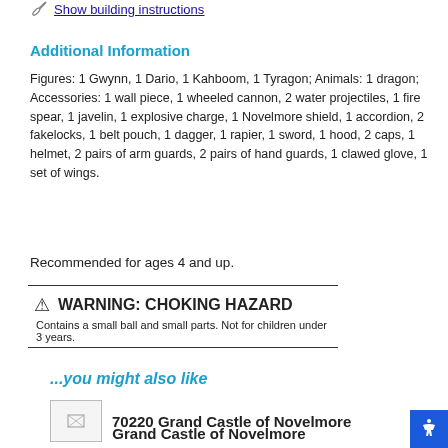Show building instructions
Additional Information
Figures: 1 Gwynn, 1 Dario, 1 Kahboom, 1 Tyragon; Animals: 1 dragon; Accessories: 1 wall piece, 1 wheeled cannon, 2 water projectiles, 1 fire spear, 1 javelin, 1 explosive charge, 1 Novelmore shield, 1 accordion, 2 fakelocks, 1 belt pouch, 1 dagger, 1 rapier, 1 sword, 1 hood, 2 caps, 1 helmet, 2 pairs of arm guards, 2 pairs of hand guards, 1 clawed glove, 1 set of wings.
Recommended for ages 4 and up.
WARNING: CHOKING HAZARD
Contains a small ball and small parts. Not for children under 3 years.
...you might also like
[Figure (other): Product image placeholder for 70220 Grand Castle of Novelmore]
70220 Grand Castle of Novelmore
Grand Castle of Novelmore